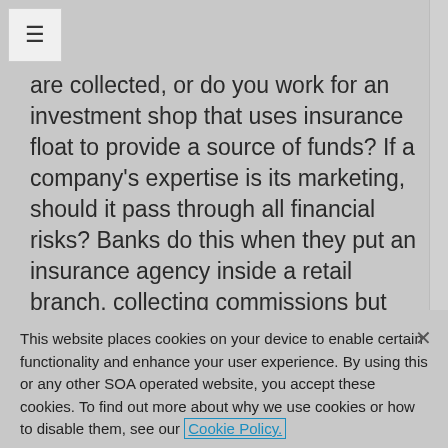are collected, or do you work for an investment shop that uses insurance float to provide a source of funds? If a company's expertise is its marketing, should it pass through all financial risks? Banks do this when they put an insurance agency inside a retail branch, collecting commissions but retaining none of the financial risk. If its product design area exhibits an entrepreneurial spirit, then the firm might adjust its
This website places cookies on your device to enable certain functionality and enhance your user experience. By using this or any other SOA operated website, you accept these cookies. To find out more about why we use cookies or how to disable them, see our Cookie Policy.